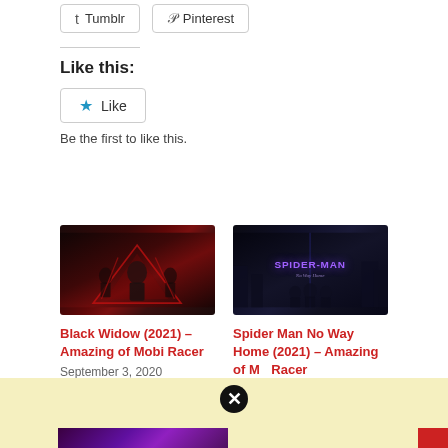Tumblr   Pinterest
Like this:
Like
Be the first to like this.
[Figure (illustration): Black Widow (2021) movie promotional image with dark red background and character silhouettes]
Black Widow (2021) – Amazing of Mobi Racer
September 3, 2020
[Figure (illustration): Spider-Man No Way Home (2021) movie promotional image with dark blue background and Spider-Man title text]
Spider Man No Way Home (2021) – Amazing of Mobi Racer